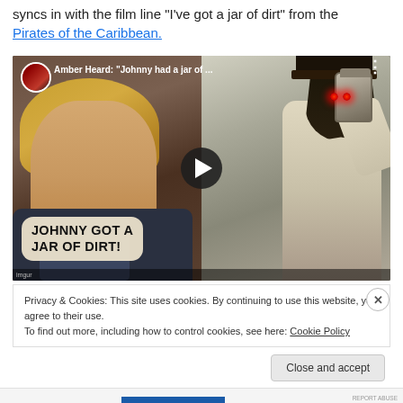syncs in with the film line "I've got a jar of dirt" from the Pirates of the Caribbean.
[Figure (screenshot): YouTube video thumbnail showing Amber Heard on the left side crying with text overlay 'JOHNNY GOT A JAR OF DIRT!' and on the right Jack Sparrow from Pirates of the Caribbean raising a jar with red glowing eyes effect. Video title bar reads 'Amber Heard: "Johnny had a jar of ..."']
Privacy & Cookies: This site uses cookies. By continuing to use this website, you agree to their use.
To find out more, including how to control cookies, see here: Cookie Policy
Close and accept